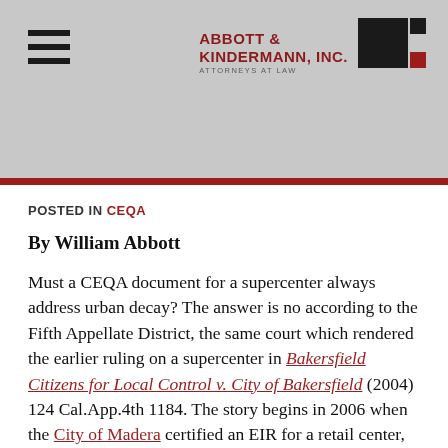Abbott & Kindermann, Inc. – Attorneys at Law
POSTED IN CEQA
By William Abbott
Must a CEQA document for a supercenter always address urban decay? The answer is no according to the Fifth Appellate District, the same court which rendered the earlier ruling on a supercenter in Bakersfield Citizens for Local Control v. City of Bakersfield (2004) 124 Cal.App.4th 1184. The story begins in 2006 when the City of Madera certified an EIR for a retail center, consisting of 795,000 square feet of gross floor area. The conceptual site plan showed one anchor of 125,000 square